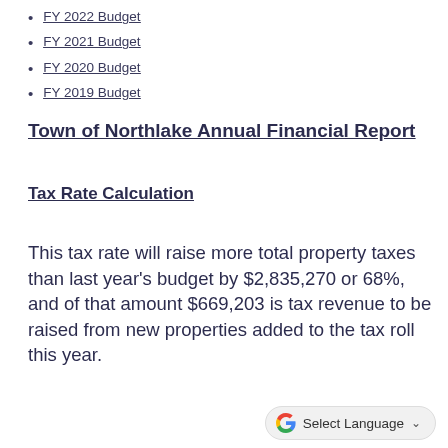FY 2022 Budget
FY 2021 Budget
FY 2020 Budget
FY 2019 Budget
Town of Northlake Annual Financial Report
Tax Rate Calculation
This tax rate will raise more total property taxes than last year’s budget by $2,835,270 or 68%, and of that amount $669,203 is tax revenue to be raised from new properties added to the tax roll this year.